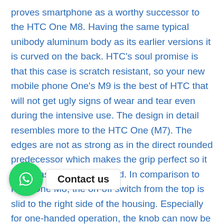proves smartphone as a worthy successor to the HTC One M8. Having the same typical unibody aluminum body as its earlier versions it is curved on the back. HTC's soul promise is that this case is scratch resistant, so your new mobile phone One's M9 is the best of HTC that will not get ugly signs of wear and tear even during the intensive use. The design in detail resembles more to the HTC One (M7). The edges are not as strong as in the direct rounded predecessor which makes the grip perfect so it wont easily get out of hand. In comparison to HTC One M8, the on-off switch from the top is slid to the right side of the housing. Especially for one-handed operation, the knob can now be reached much easier. The volume rocker on HTC's One M9 is represented by two volume keys. The new model has no Ultra pixel sensor but a 20 megapixel camera with a BSI sensor. On the back, a square neckline with the lens protrudes slightly out of the body. H...MC'...d from damage by a solid sapphire glass so it cannot get easily scratched. Presented with a 5.0 inch screen supporting 1920 x 1020 pixels, HTC M9 throws sharp
[Figure (other): WhatsApp contact us button overlay with green circle WhatsApp icon and white bubble saying 'Contact us']